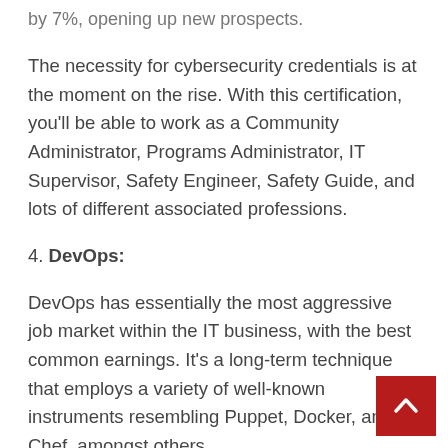by 7%, opening up new prospects.
The necessity for cybersecurity credentials is at the moment on the rise. With this certification, you'll be able to work as a Community Administrator, Programs Administrator, IT Supervisor, Safety Engineer, Safety Guide, and lots of different associated professions.
4. DevOps:
DevOps has essentially the most aggressive job market within the IT business, with the best common earnings. It's a long-term technique that employs a variety of well-known instruments resembling Puppet, Docker, and Chef, amongst others.
Outstanding professionals are securing well-qualified positions on this planet's largest multinational organizations.
DevOps engineer, DevOps supervisor, and DevOps